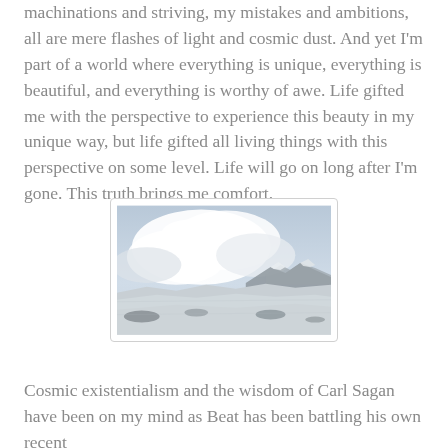machinations and striving, my mistakes and ambitions, all are mere flashes of light and cosmic dust. And yet I'm part of a world where everything is unique, everything is beautiful, and everything is worthy of awe. Life gifted me with the perspective to experience this beauty in my unique way, but life gifted all living things with this perspective on some level. Life will go on long after I'm gone. This truth brings me comfort.
[Figure (photo): A snowy mountain landscape with dramatic cloudy sky. Snow-covered terrain in the foreground with a mountain peak visible in the background beneath large billowing clouds.]
Cosmic existentialism and the wisdom of Carl Sagan have been on my mind as Beat has been battling his own recent